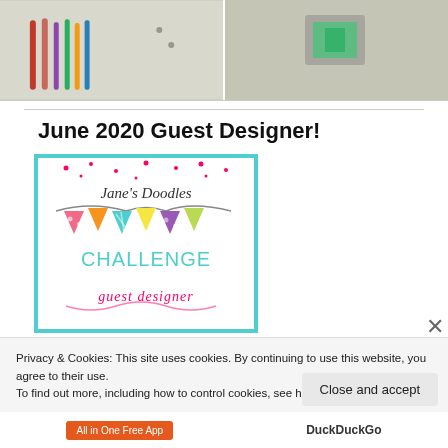[Figure (photo): Two photos at top: left shows markers/pens on white surface, right shows a decorative item on floor]
June 2020 Guest Designer!
[Figure (illustration): Jane's Doodles challenge card with colorful bunting flags and text CHALLENGE guest designer]
Privacy & Cookies: This site uses cookies. By continuing to use this website, you agree to their use.
To find out more, including how to control cookies, see here: Cookie Policy
Close and accept